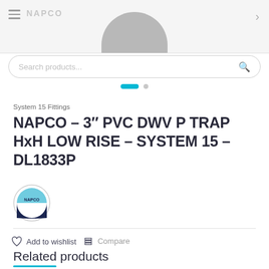[Figure (screenshot): Top navigation bar with hamburger menu, NAPCO brand logo placeholder, product image (gray rounded shape), search bar, and carousel dots]
System 15 Fittings
NAPCO – 3″ PVC DWV P TRAP HxH LOW RISE – SYSTEM 15 – DL1833P
[Figure (logo): NAPCO pipe systems circular logo with blue arc and dark navy base]
Add to wishlist  Compare
Related products